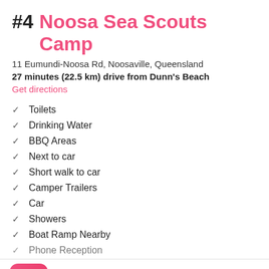#4 Noosa Sea Scouts Camp
11 Eumundi-Noosa Rd, Noosaville, Queensland
27 minutes (22.5 km) drive from Dunn's Beach
Get directions
✓ Toilets
✓ Drinking Water
✓ BBQ Areas
✓ Next to car
✓ Short walk to car
✓ Camper Trailers
✓ Car
✓ Showers
✓ Boat Ramp Nearby
✓ Phone Reception (partially visible)
Aircamp Australia — Find campsites Australia-wide, easy & free. INSTALL